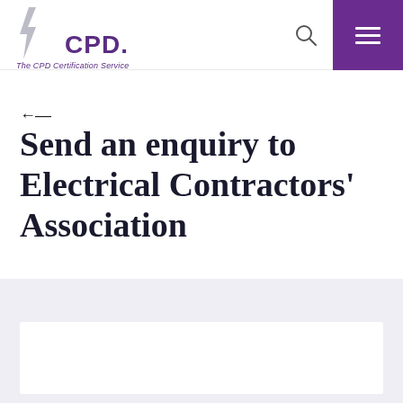CPD. The CPD Certification Service
←
Send an enquiry to Electrical Contractors' Association